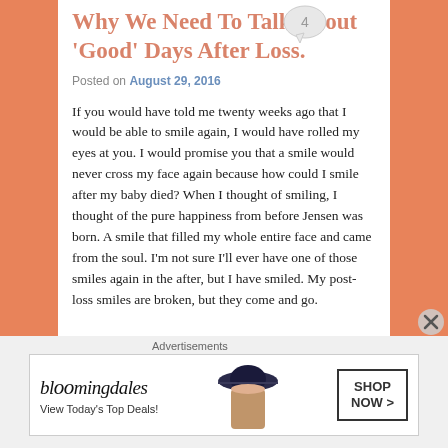Why We Need To Talk About ‘Good’ Days After Loss.
Posted on August 29, 2016
If you would have told me twenty weeks ago that I would be able to smile again, I would have rolled my eyes at you. I would promise you that a smile would never cross my face again because how could I smile after my baby died? When I thought of smiling, I thought of the pure happiness from before Jensen was born. A smile that filled my whole entire face and came from the soul. I’m not sure I’ll ever have one of those smiles again in the after, but I have smiled. My post-loss smiles are broken, but they come and go.
[Figure (other): Comment count bubble showing the number 4]
Advertisements
[Figure (other): Bloomingdale's advertisement banner: 'bloomingdales / View Today’s Top Deals!' with image of woman in hat and 'SHOP NOW >' button]